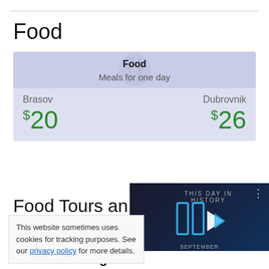Food
| Food |  |
| --- | --- |
| Meals for one day |  |
| Brasov | Dubrovnik |
| $20 | $26 |
Food Tours an
This website sometimes uses cookies for tracking purposes. See our privacy policy for more details.
[Figure (screenshot): Video thumbnail showing 'THIS DAY IN HISTORY' with play button controls and a progress bar at the bottom]
food and dining re...